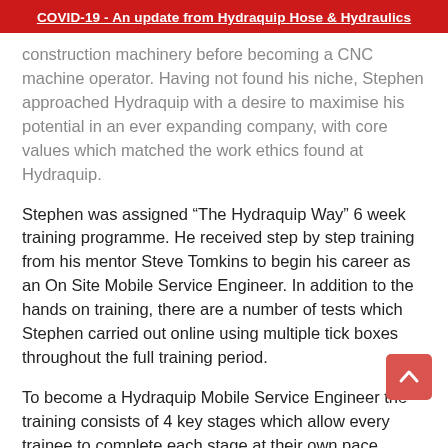COVID-19 - An update from Hydraquip Hose & Hydraulics
construction machinery before becoming a CNC machine operator. Having not found his niche, Stephen approached Hydraquip with a desire to maximise his potential in an ever expanding company, with core values which matched the work ethics found at Hydraquip.
Stephen was assigned “The Hydraquip Way” 6 week training programme. He received step by step training from his mentor Steve Tomkins to begin his career as an On Site Mobile Service Engineer. In addition to the hands on training, there are a number of tests which Stephen carried out online using multiple tick boxes throughout the full training period.
To become a Hydraquip Mobile Service Engineer the training consists of 4 key stages which allow every trainee to complete each stage at their own pace.
Stage 1
An introduction to Hydraquip’s work ethics and the history of